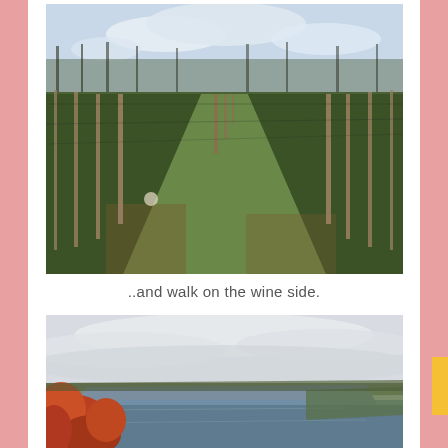[Figure (photo): Vineyard rows with wooden posts and wire trellises, green grass pathway between grapevine rows, overcast sky, bare trees in background. Photo taken in late autumn or early spring.]
..and walk on the wine side.
[Figure (photo): Aerial or elevated view of a large lake (likely a Finger Lake in New York) with autumn foliage in foreground (orange/red leaves), overcast sky with clouds, rolling hills and water body extending into the distance.]